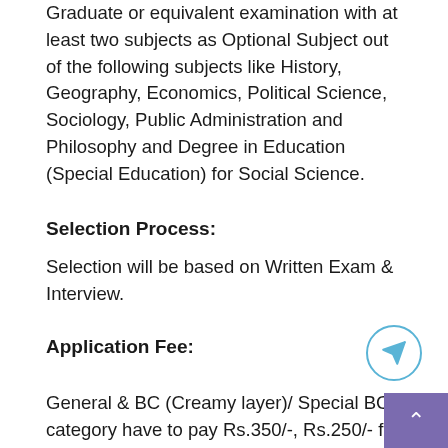Graduate or equivalent examination with at least two subjects as Optional Subject out of the following subjects like History, Geography, Economics, Political Science, Sociology, Public Administration and Philosophy and Degree in Education (Special Education) for Social Science.
Selection Process:
Selection will be based on Written Exam & Interview.
Application Fee:
General & BC (Creamy layer)/ Special BC category have to pay Rs.350/-, Rs.250/- for Non Creamy layer